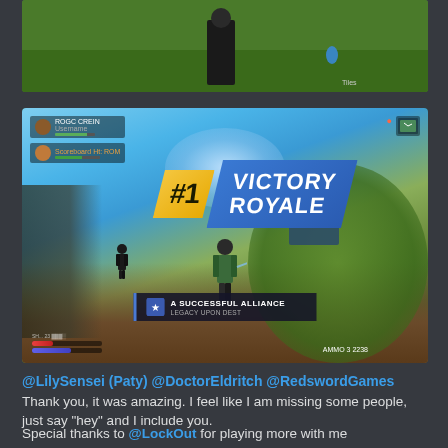[Figure (screenshot): Top partial screenshot of a Fortnite game match, showing a green outdoor environment with a notification bar at the top center reading about a Trios match during Chapter 3 Season 2.]
[Figure (screenshot): Fortnite Victory Royale screenshot showing a player character in a green vest with the '#1 VICTORY ROYALE' banner displayed prominently in blue and gold. HUD elements visible including player health, achievement notification 'A SUCCESSFUL ALLIANCE - LEGACY UPON DEST', and enemy player in background.]
@LilySensei (Paty) @DoctorEldritch @RedswordGames
Thank you, it was amazing. I feel like I am missing some people, just say "hey" and I include you.
Special thanks to @LockOut for playing more with me